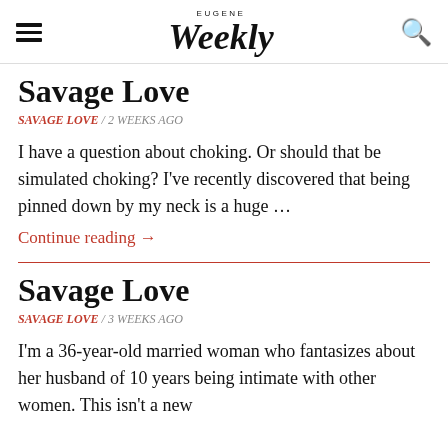EUGENE Weekly
Savage Love
SAVAGE LOVE / 2 WEEKS AGO
I have a question about choking. Or should that be simulated choking? I've recently discovered that being pinned down by my neck is a huge …
Continue reading →
Savage Love
SAVAGE LOVE / 3 WEEKS AGO
I'm a 36-year-old married woman who fantasizes about her husband of 10 years being intimate with other women. This isn't a new